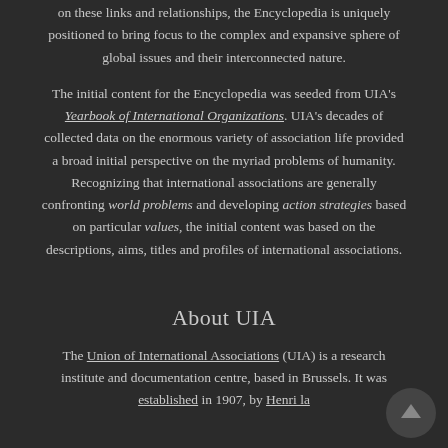on these links and relationships, the Encyclopedia is uniquely positioned to bring focus to the complex and expansive sphere of global issues and their interconnected nature.
The initial content for the Encyclopedia was seeded from UIA's Yearbook of International Organizations. UIA's decades of collected data on the enormous variety of association life provided a broad initial perspective on the myriad problems of humanity. Recognizing that international associations are generally confronting world problems and developing action strategies based on particular values, the initial content was based on the descriptions, aims, titles and profiles of international associations.
About UIA
The Union of International Associations (UIA) is a research institute and documentation centre, based in Brussels. It was established in 1907, by Henri la